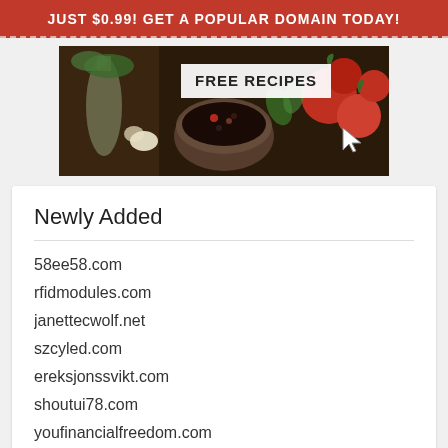JUST $0.99! GET A POPULAR DOMAIN TODAY!
[Figure (photo): Advertisement banner showing food ingredients (tomatoes, herbs, olive oil, spices bowl) with 'FREE RECIPES' text overlay and cursor arrow]
Newly Added
58ee58.com
rfidmodules.com
janettecwolf.net
szcyled.com
ereksjonssvikt.com
shoutui78.com
youfinancialfreedom.com
yid888.com
saw-conseil.com
dawn123.com
sustainablesolutioncanada.com
houstontysfn.com